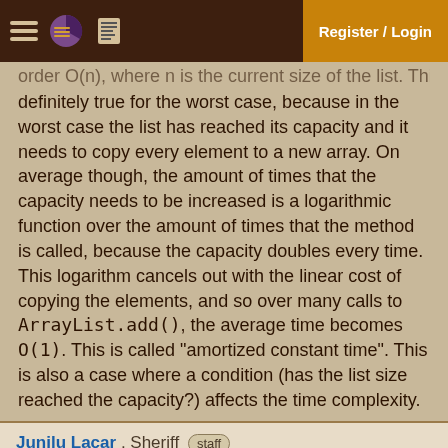Register / Login
order O(n), where n is the current size of the list. This is definitely true for the worst case, because in the worst case the list has reached its capacity and it needs to copy every element to a new array. On average though, the amount of times that the capacity needs to be increased is a logarithmic function over the amount of times that the method is called, because the capacity doubles every time. This logarithm cancels out with the linear cost of copying the elements, and so over many calls to ArrayList.add(), the average time becomes O(1). This is called "amortized constant time". This is also a case where a condition (has the list size reached the capacity?) affects the time complexity.
Junilu Lacar , Sheriff staff
Jan 09, 2019 07:16:24
I concur with Stephan's answer, with a cow.